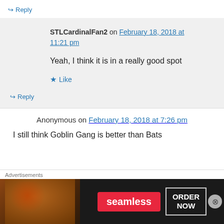↪ Reply
STLCardinalFan2 on February 18, 2018 at 11:21 pm
Yeah, I think it is in a really good spot
★ Like
↪ Reply
Anonymous on February 18, 2018 at 7:26 pm
I still think Goblin Gang is better than Bats
Advertisements
[Figure (other): Seamless food delivery advertisement banner with pizza image, Seamless logo, and ORDER NOW button]